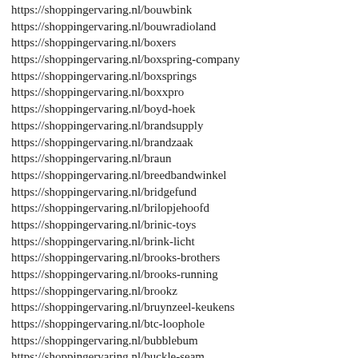https://shoppingervaring.nl/bouwbink
https://shoppingervaring.nl/bouwradioland
https://shoppingervaring.nl/boxers
https://shoppingervaring.nl/boxspring-company
https://shoppingervaring.nl/boxsprings
https://shoppingervaring.nl/boxxpro
https://shoppingervaring.nl/boyd-hoek
https://shoppingervaring.nl/brandsupply
https://shoppingervaring.nl/brandzaak
https://shoppingervaring.nl/braun
https://shoppingervaring.nl/breedbandwinkel
https://shoppingervaring.nl/bridgefund
https://shoppingervaring.nl/brilopjehoofd
https://shoppingervaring.nl/brinic-toys
https://shoppingervaring.nl/brink-licht
https://shoppingervaring.nl/brooks-brothers
https://shoppingervaring.nl/brooks-running
https://shoppingervaring.nl/brookz
https://shoppingervaring.nl/bruynzeel-keukens
https://shoppingervaring.nl/btc-loophole
https://shoppingervaring.nl/bubblebum
https://shoppingervaring.nl/buckle-seam
https://shoppingervaring.nl/budgetpetcare
https://shoppingervaring.nl/budgetuitvaartpolis
https://shoppingervaring.nl/bullex